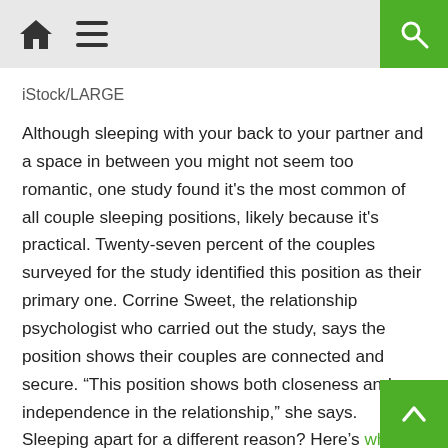iStock/LARGE
Although sleeping with your back to your partner and a space in between you might not seem too romantic, one study found it's the most common of all couple sleeping positions, likely because it's practical. Twenty-seven percent of the couples surveyed for the study identified this position as their primary one. Corrine Sweet, the relationship psychologist who carried out the study, says the position shows their couples are connected and secure. “This position shows both closeness and independence in the relationship,” she says. Sleeping apart for a different reason? Here’s what your fights say about your